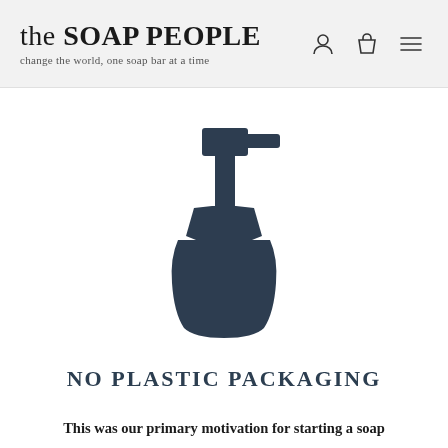the SOAP PEOPLE — change the world, one soap bar at a time
[Figure (illustration): Silhouette icon of a soap dispenser bottle in dark navy/charcoal color, centered on the page]
NO PLASTIC PACKAGING
This was our primary motivation for starting a soap